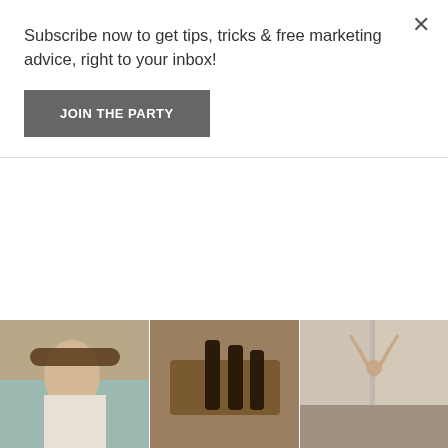Subscribe now to get tips, tricks & free marketing advice, right to your inbox!
JOIN THE PARTY
[Figure (photo): Instagram-style photo grid showing men's grooming content. Row 1: man by pool with hat, grooming product bottles on wooden surface, person doing handstand on cobblestone street. Row 2: man combing hair (shop icon), hands holding product bottle (shop icon), man with beard and sunglasses. Row 3: branded product packaging with cards, older man with grey hair/beard styling hair (square icon), bathroom shelf with product bottles (scroll-to-top and chat buttons). Partial row 4 visible at bottom.]